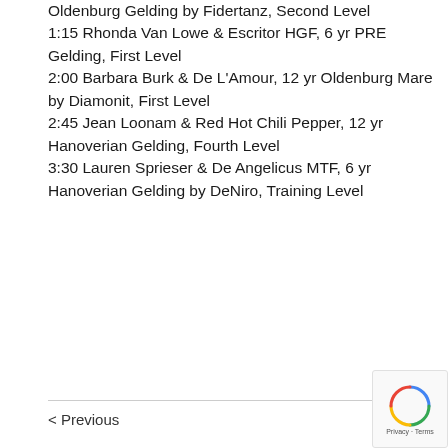Oldenburg Gelding by Fidertanz, Second Level
1:15 Rhonda Van Lowe & Escritor HGF, 6 yr PRE Gelding, First Level
2:00 Barbara Burk & De L'Amour, 12 yr Oldenburg Mare by Diamonit, First Level
2:45 Jean Loonam & Red Hot Chili Pepper, 12 yr Hanoverian Gelding, Fourth Level
3:30 Lauren Sprieser & De Angelicus MTF, 6 yr Hanoverian Gelding by DeNiro, Training Level
< Previous   Next >